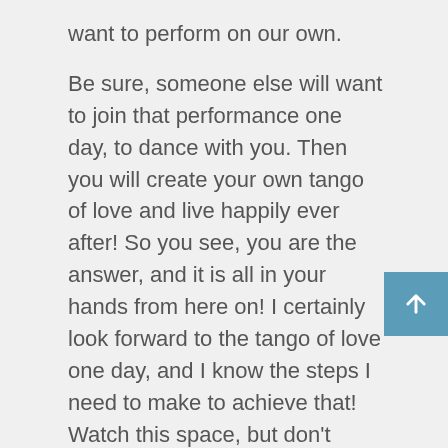want to perform on our own.
Be sure, someone else will want to join that performance one day, to dance with you. Then you will create your own tango of love and live happily ever after! So you see, you are the answer, and it is all in your hands from here on! I certainly look forward to the tango of love one day, and I know the steps I need to make to achieve that! Watch this space, but don't delay your own journey to love of self!
If you require a guide to assist you on your journey, I offer programs and sessions on a one-to-one basis. Alternatively you can purchase my book, which is a useful guide to self-love for only three